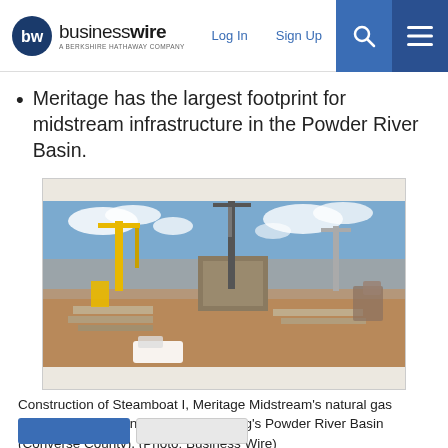businesswire — A Berkshire Hathaway Company | Log In | Sign Up
Meritage has the largest footprint for midstream infrastructure in the Powder River Basin.
[Figure (photo): Construction site of Steamboat I, Meritage Midstream's natural gas cryogenic processing plant in Wyoming's Powder River Basin (Converse County). Large cranes, heavy equipment, pipe materials, and a building structure visible against a partly cloudy sky.]
Construction of Steamboat I, Meritage Midstream's natural gas cryogenic processing plant in Wyoming's Powder River Basin (Converse County). (Photo: Business Wire)